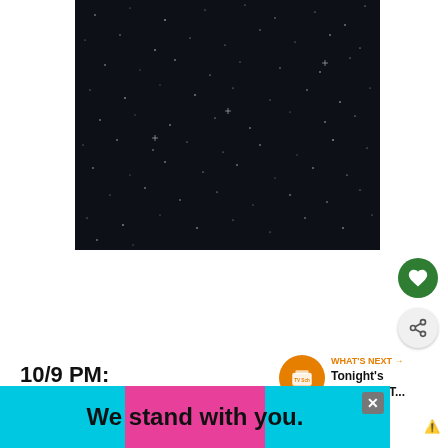[Figure (photo): Dark night sky image with scattered white stars/dots on a very dark navy/black background]
[Figure (other): Green circular heart/favorite button]
[Figure (other): Light gray circular share button with share icon]
10/9 PM:
[Figure (other): WHAT'S NEXT arrow label with orange TV icon circle and text: Tonight's Complete T...]
20/20 (ABC)
[Figure (other): Advertisement banner: 'We stand with you.' in bold black text on pink and blue background with X close button]